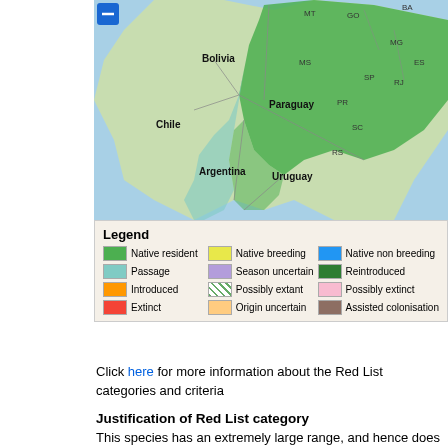[Figure (map): Distribution map of South America showing native resident range (bright green) covering eastern Brazil, Paraguay, Uruguay, and parts of Argentina. Countries labeled: Bolivia, Paraguay, Chile, Uruguay, Argentina. Brazilian states labeled: MT, GO, BA, MG, ES, SP, RJ, PR, SC, RS, MS. Blue ocean surrounds. A zoom-out control icon visible at top left of map.]
[Figure (infographic): Legend box with colored swatches: Native resident (green), Passage (light teal), Introduced (orange), Extinct (red), Native breeding (yellow), Season uncertain (purple), Possibly extant (hatched), Origin uncertain (light orange), Native non breeding (blue), Reintroduced (dark green), Possibly extinct (pink), Assisted colonisation (brown)]
Click here for more information about the Red List categories and criteria
Justification of Red List category
This species has an extremely large range, and hence does not approach the thresholds for Vulnerable under the range size criterion (Extent of Occurrence <20,000 km2 combined with a declining or fluctuating range size, habitat extent/quality, or population size and a small number of locations or severe fragmentation). The population trend appears to be stable, and hence the species does not approach the thresholds for Vulnerable under the population trend